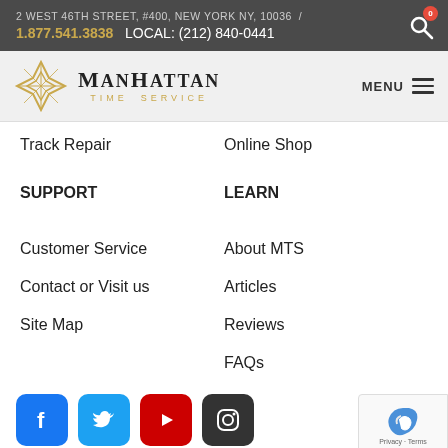2 WEST 46TH STREET, #400, NEW YORK NY, 10036 / 1.877.541.3838 LOCAL: (212) 840-0441
[Figure (logo): Manhattan Time Service logo with diamond geometric icon and text MANHATTAN TIME SERVICE]
Track Repair
Online Shop
SUPPORT
LEARN
Customer Service
About MTS
Contact or Visit us
Articles
Site Map
Reviews
FAQs
[Figure (other): Social media icons: Facebook, Twitter, YouTube, Instagram]